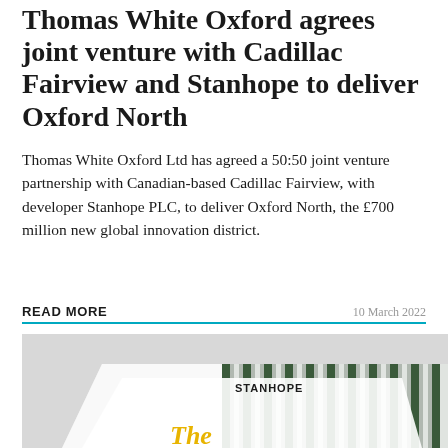Thomas White Oxford agrees joint venture with Cadillac Fairview and Stanhope to deliver Oxford North
Thomas White Oxford Ltd has agreed a 50:50 joint venture partnership with Canadian-based Cadillac Fairview, with developer Stanhope PLC, to deliver Oxford North, the £700 million new global innovation district.
READ MORE
10 March 2022
[Figure (photo): Photo of a brochure or document with 'STANHOPE' logo and architectural rendering of a building with green vertical fins/louvers. Partial text 'The' visible in yellow at bottom.]